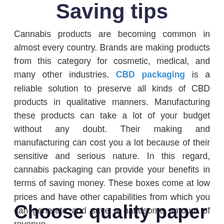Saving tips
Cannabis products are becoming common in almost every country. Brands are making products from this category for cosmetic, medical, and many other industries. CBD packaging is a reliable solution to preserve all kinds of CBD products in qualitative manners. Manufacturing these products can take a lot of your budget without any doubt. Their making and manufacturing can cost you a lot because of their sensitive and serious nature. In this regard, cannabis packaging can provide your benefits in terms of saving money. These boxes come at low prices and have other capabilities from which you can generate and save a handsome amount of revenue.
Choose quality paper material